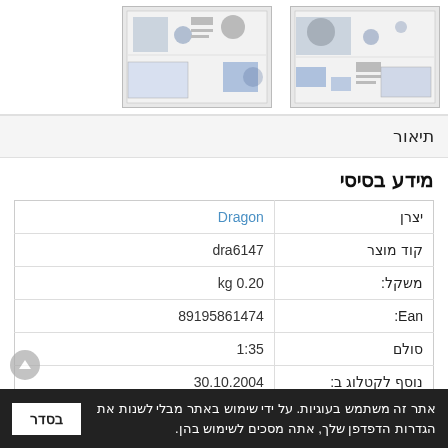[Figure (photo): Two thumbnail images of a model kit or document pages with figures and text]
תיאור
מידע בסיסי
| שדה | ערך |
| --- | --- |
| יצרן | Dragon |
| קוד מוצר | dra6147 |
| משקל: | 0.20 kg |
| Ean: | 89195861474 |
| סולם | 1:35 |
| נוסף לקטלוג ב: | 30.10.2004 |
| תגיות: | 75mm-LG40 |
אתר זה משתמש בעוגיות. על ידי שימוש באתר מבלי לשנות את הגדרות הדפדפן שלך, אתה מסכים לשימוש בהן.